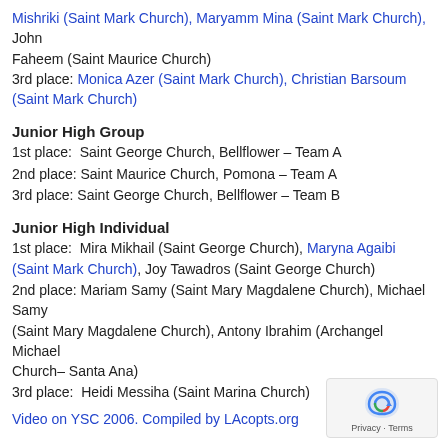Mishriki (Saint Mark Church), Maryamm Mina (Saint Mark Church), John
Faheem (Saint Maurice Church)
3rd place: Monica Azer (Saint Mark Church), Christian Barsoum (Saint Mark Church)
Junior High Group
1st place:  Saint George Church, Bellflower – Team A
2nd place: Saint Maurice Church, Pomona – Team A
3rd place: Saint George Church, Bellflower – Team B
Junior High Individual
1st place:  Mira Mikhail (Saint George Church), Maryna Agaibi (Saint Mark Church), Joy Tawadros (Saint George Church)
2nd place: Mariam Samy (Saint Mary Magdalene Church), Michael Samy
(Saint Mary Magdalene Church), Antony Ibrahim (Archangel Michael
Church– Santa Ana)
3rd place:  Heidi Messiha (Saint Marina Church)
Video on YSC 2006. Compiled by LAcopts.org